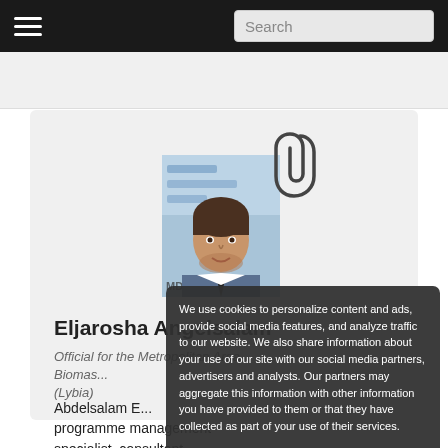Search
[Figure (photo): Profile photo of Eljarosha Angelsalam, a young man in a suit with a tie, standing in front of a sign with Arabic text]
Eljarosha Angelsalam
Official for the Metropolitan Area Biomas... (Lybia)
Abdelsalam E... programme management specialist, consultant
We use cookies to personalize content and ads, provide social media features, and analyze traffic to our website. We also share information about your use of our site with our social media partners, advertisers and analysts. Our partners may aggregate this information with other information you have provided to them or that they have collected as part of your use of their services.